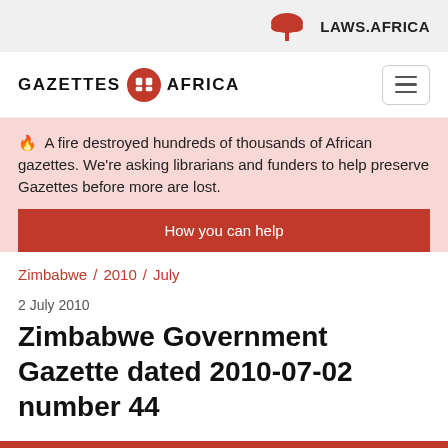LAWS.AFRICA
[Figure (logo): Gazettes Africa logo with red circle icon containing grid lines]
🔥 A fire destroyed hundreds of thousands of African gazettes. We're asking librarians and funders to help preserve Gazettes before more are lost.
How you can help
Zimbabwe / 2010 / July
2 July 2010
Zimbabwe Government Gazette dated 2010-07-02 number 44
Partners